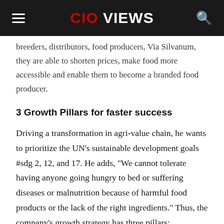CIO VIEWS
breeders, distributors, food producers, Via Silvanum, they are able to shorten prices, make food more accessible and enable them to become a branded food producer.
3 Growth Pillars for faster success
Driving a transformation in agri-value chain, he wants to prioritize the UN’s sustainable development goals #sdg 2, 12, and 17. He adds, “We cannot tolerate having anyone going hungry to bed or suffering diseases or malnutrition because of harmful food products or the lack of the right ingredients.” Thus, the company’s growth strategy has three pillars: